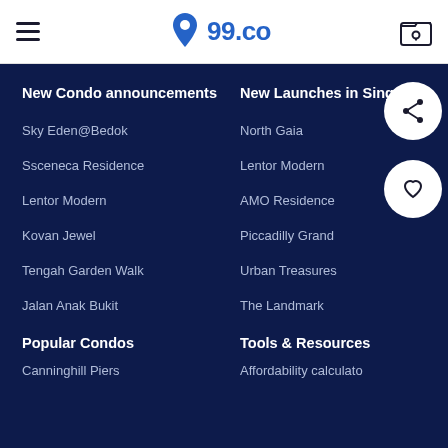99.co — navigation header with hamburger menu and folder icon
New Condo announcements
New Launches in Singapore
Sky Eden@Bedok
North Gaia
Ssceneca Residence
Lentor Modern
Lentor Modern
AMO Residence
Kovan Jewel
Piccadilly Grand
Tengah Garden Walk
Urban Treasures
Jalan Anak Bukit
The Landmark
Popular Condos
Tools & Resources
Canninghill Piers
Affordability calculator